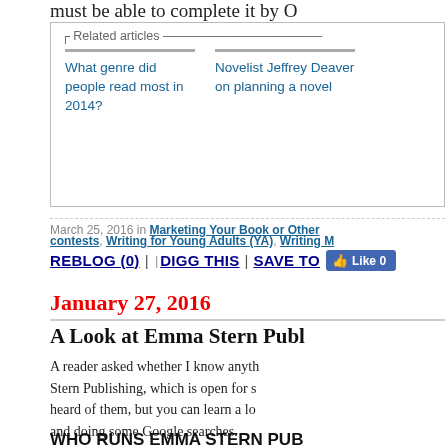must be able to complete it by O...
Related articles
What genre did people read most in 2014?
Novelist Jeffrey Deaver on planning a novel
March 25, 2016 in Marketing Your Book or Other contests, Writing for Young Adults (YA), Writing M...
REBLOG (0) | DIGG THIS | SAVE TO... Like 0
January 27, 2016
A Look at Emma Stern Publ...
A reader asked whether I know anyth... Stern Publishing, which is open for s... heard of them, but you can learn a l... and doing some Google searches.
WHO RUNS EMMA STERN PUB...